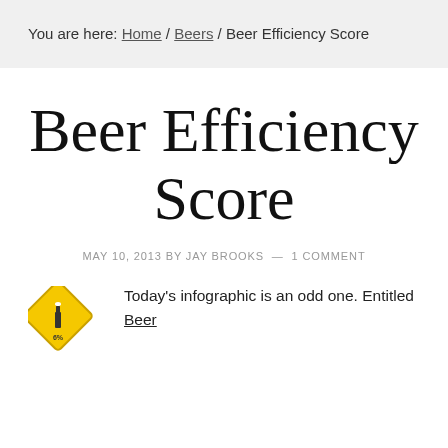You are here: Home / Beers / Beer Efficiency Score
Beer Efficiency Score
MAY 10, 2013 BY JAY BROOKS — 1 COMMENT
[Figure (illustration): Yellow diamond-shaped warning sign icon with a beer bottle and '6%' text]
Today's infographic is an odd one. Entitled Beer